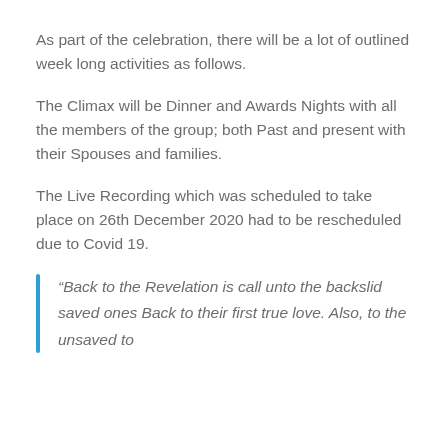As part of the celebration, there will be a lot of outlined week long activities as follows.
The Climax will be Dinner and Awards Nights with all the members of the group; both Past and present with their Spouses and families.
The Live Recording which was scheduled to take place on 26th December 2020 had to be rescheduled due to Covid 19.
“Back to the Revelation is call unto the backslid saved ones Back to their first true love. Also, to the unsaved to